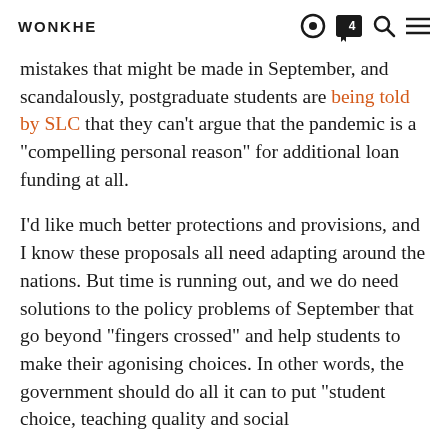WONKHE
mistakes that might be made in September, and scandalously, postgraduate students are being told by SLC that they can't argue that the pandemic is a "compelling personal reason" for additional loan funding at all.

I'd like much better protections and provisions, and I know these proposals all need adapting around the nations. But time is running out, and we do need solutions to the policy problems of September that go beyond "fingers crossed" and help students to make their agonising choices. In other words, the government should do all it can to put "student choice, teaching quality and social